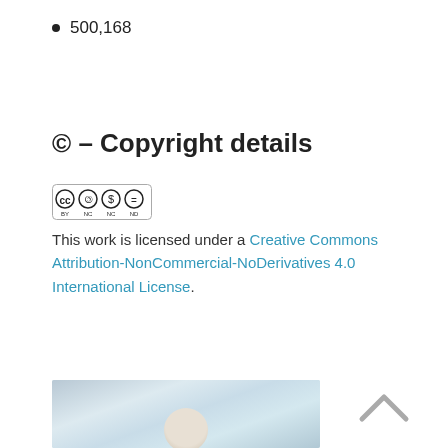500,168
© – Copyright details
[Figure (logo): Creative Commons BY-NC-ND license badge]
This work is licensed under a Creative Commons Attribution-NonCommercial-NoDerivatives 4.0 International License.
[Figure (photo): Photo of a person with white/grey hair in what appears to be a medical or office setting]
[Figure (other): Upward chevron / back-to-top arrow]